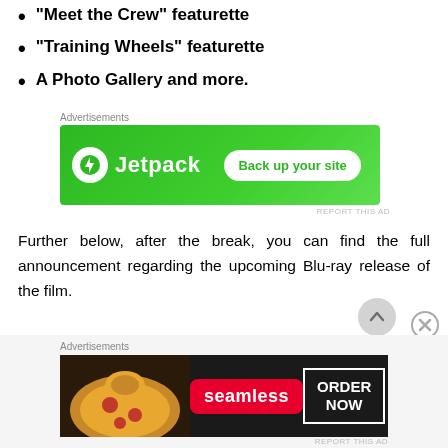"Meet the Crew" featurette
"Training Wheels" featurette
A Photo Gallery and more.
[Figure (screenshot): Jetpack advertisement banner with green background, Jetpack logo on left and 'Back up your site' button on right. Labeled 'Advertisements' above.]
Further below, after the break, you can find the full announcement regarding the upcoming Blu-ray release of the film.
[Figure (screenshot): Seamless food delivery advertisement with dark background, pizza image on left, Seamless logo in red badge, and 'ORDER NOW' button on right. Labeled 'Advertisements' above.]